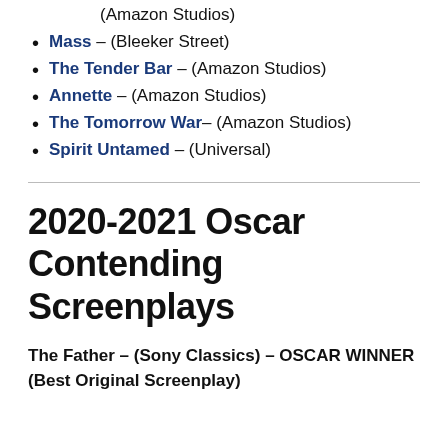(Amazon Studios)
Mass – (Bleeker Street)
The Tender Bar – (Amazon Studios)
Annette – (Amazon Studios)
The Tomorrow War– (Amazon Studios)
Spirit Untamed – (Universal)
2020-2021 Oscar Contending Screenplays
The Father – (Sony Classics) – OSCAR WINNER (Best Original Screenplay)